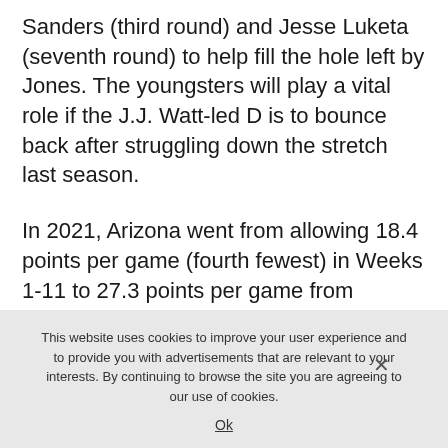Sanders (third round) and Jesse Luketa (seventh round) to help fill the hole left by Jones. The youngsters will play a vital role if the J.J. Watt-led D is to bounce back after struggling down the stretch last season.
In 2021, Arizona went from allowing 18.4 points per game (fourth fewest) in Weeks 1-11 to 27.3 points per game from Weeks 12-18, 28th in the league.
This website uses cookies to improve your user experience and to provide you with advertisements that are relevant to your interests. By continuing to browse the site you are agreeing to our use of cookies.
Ok